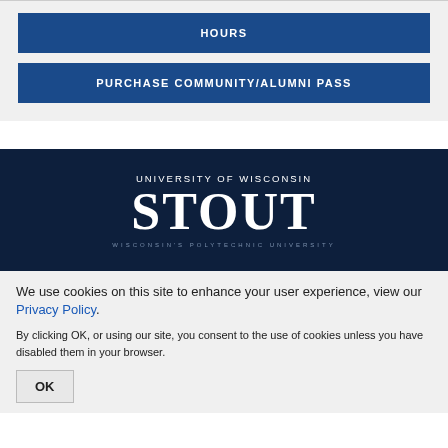HOURS
PURCHASE COMMUNITY/ALUMNI PASS
[Figure (logo): University of Wisconsin Stout logo — white text on dark navy background. 'UNIVERSITY OF WISCONSIN' in small caps above large 'STOUT' and 'WISCONSIN'S POLYTECHNIC UNIVERSITY' below.]
We use cookies on this site to enhance your user experience, view our Privacy Policy.
By clicking OK, or using our site, you consent to the use of cookies unless you have disabled them in your browser.
OK